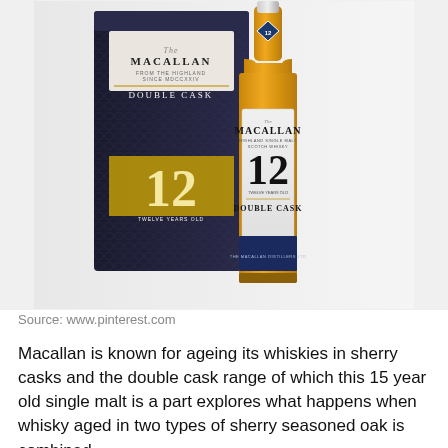[Figure (photo): Photo of The Macallan 12 Year Old Double Cask whisky bottle alongside its dark navy blue box packaging with gold '12' text]
Source: www.pinterest.com
Macallan is known for ageing its whiskies in sherry casks and the double cask range of which this 15 year old single malt is a part explores what happens when whisky aged in two types of sherry seasoned oak is combined.